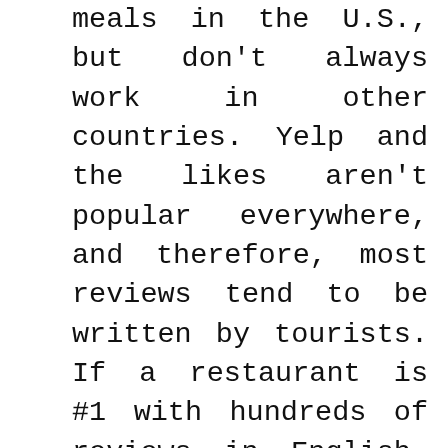meals in the U.S., but don't always work in other countries. Yelp and the likes aren't popular everywhere, and therefore, most reviews tend to be written by tourists. If a restaurant is #1 with hundreds of reviews in English, you are most likely going to be sitting with many Americans and wondering why you took an international flight to sit next to someone from Nashville, TN. Nothing against anyone from the Volunteer state, but it just may not be the authentic experience you were